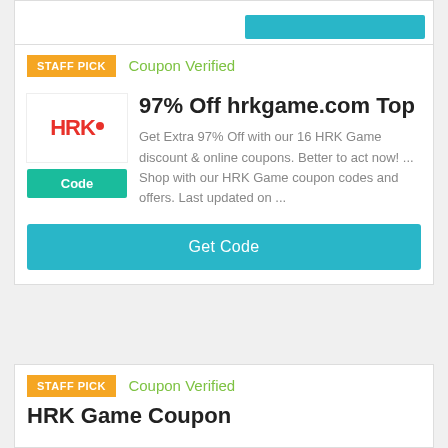[Figure (screenshot): Partial top coupon card with teal Get Code button]
STAFF PICK
Coupon Verified
[Figure (logo): HRK Game logo in red with dot]
Code
97% Off hrkgame.com Top
Get Extra 97% Off with our 16 HRK Game discount & online coupons. Better to act now! ... Shop with our HRK Game coupon codes and offers. Last updated on ...
Get Code
STAFF PICK
Coupon Verified
HRK Game Coupon